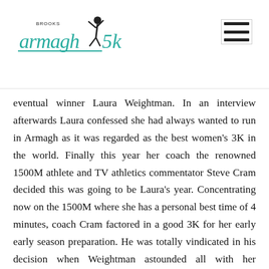Brooks Armagh 5K logo and navigation menu
eventual winner Laura Weightman. In an interview afterwards Laura confessed she had always wanted to run in Armagh as it was regarded as the best women's 3K in the world. Finally this year her coach the renowned 1500M athlete and TV athletics commentator Steve Cram decided this was going to be Laura's year. Concentrating now on the 1500M where she has a personal best time of 4 minutes, coach Cram factored in a good 3K for her early early season preparation. He was totally vindicated in his decision when Weightman astounded all with her aggressive front running and eventual stunning and